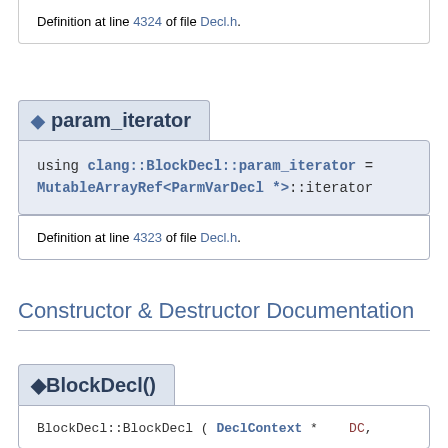Definition at line 4324 of file Decl.h.
◆ param_iterator
using clang::BlockDecl::param_iterator = MutableArrayRef<ParmVarDecl *>::iterator
Definition at line 4323 of file Decl.h.
Constructor & Destructor Documentation
◆ BlockDecl()
BlockDecl::BlockDecl ( DeclContext * DC,